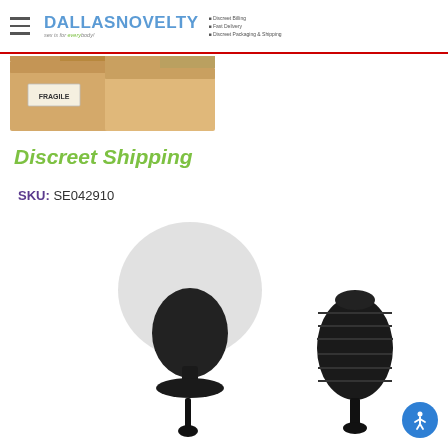Dallas Novelty - sex is for everybody! Discreet Billing | Fast Delivery | Discreet Packaging & Shipping
[Figure (photo): Discreet shipping promotional banner showing cardboard boxes with a FRAGILE label and green italic text reading 'Discreet Shipping']
SKU: SE042910
[Figure (photo): Product photo showing a black inflatable anal plug with attached pump/bulb on white background]